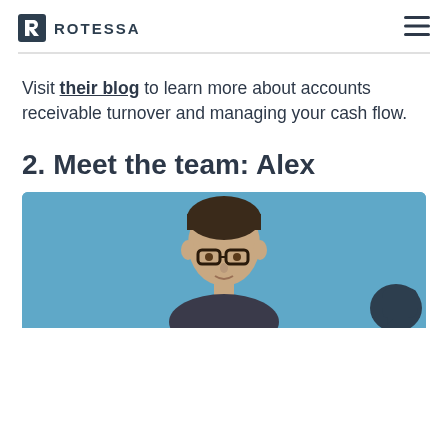ROTESSA
Visit their blog to learn more about accounts receivable turnover and managing your cash flow.
2. Meet the team: Alex
[Figure (photo): Photo of Alex, a young man with dark hair and glasses, shown from shoulders up against a light blue background. A dark teal chat bubble icon is in the lower right corner.]